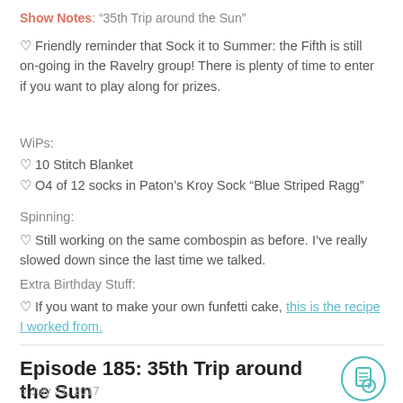Show Notes: “35th Trip around the Sun”
♥ Friendly reminder that Sock it to Summer: the Fifth is still on-going in the Ravelry group! There is plenty of time to enter if you want to play along for prizes.
WiPs:
♥ 10 Stitch Blanket
♥ O4 of 12 socks in Paton’s Kroy Sock “Blue Striped Ragg”
Spinning:
♥ Still working on the same combospin as before. I’ve really slowed down since the last time we talked.
Extra Birthday Stuff:
♥ If you want to make your own funfetti cake, this is the recipe I worked from.
Episode 185: 35th Trip around the Sun
○ July 21, 2017